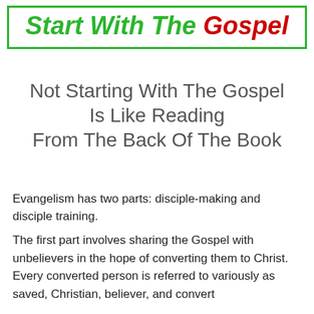Start With The Gospel
Not Starting With The Gospel Is Like Reading From The Back Of The Book
Evangelism has two parts: disciple-making and disciple training.
The first part involves sharing the Gospel with unbelievers in the hope of converting them to Christ. Every converted person is referred to variously as saved, Christian, believer, and convert